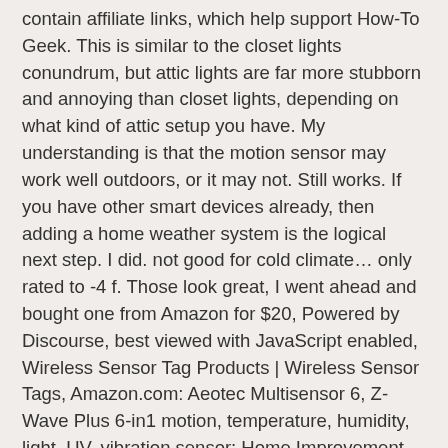contain affiliate links, which help support How-To Geek. This is similar to the closet lights conundrum, but attic lights are far more stubborn and annoying than closet lights, depending on what kind of attic setup you have. My understanding is that the motion sensor may work well outdoors, or it may not. Still works. If you have other smart devices already, then adding a home weather system is the logical next step. I did. not good for cold climate… only rated to -4 f. Those look great, I went ahead and bought one from Amazon for $20, Powered by Discourse, best viewed with JavaScript enabled, Wireless Sensor Tag Products | Wireless Sensor Tags, Amazon.com: Aeotec Multisensor 6, Z-Wave Plus 6-in1 motion, temperature, humidity, light, UV, vibration sensor: Home Improvement, Aqara Temperature Humidity Sensor -$11.56 Online Shopping| GearBest.com, Original & Aqara Xiaomi Zigbee Sensors (contact, temp, motion, button, outlet, leak, etc). What is the minimum